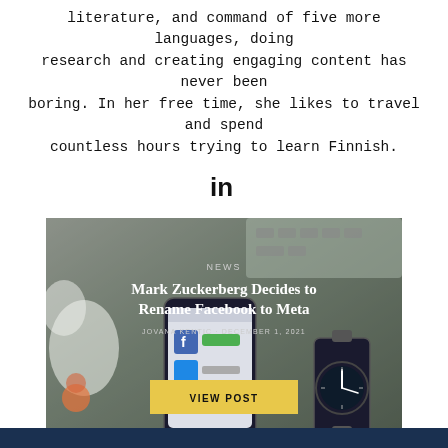literature, and command of five more languages, doing research and creating engaging content has never been boring. In her free time, she likes to travel and spend countless hours trying to learn Finnish.
[Figure (logo): LinkedIn 'in' icon]
[Figure (photo): Article card with background photo of a smartphone showing Facebook app and a watch on a desk. Overlaid text: NEWS, headline 'Mark Zuckerberg Decides to Rename Facebook to Meta', byline JOVANA KENTIC · DECEMBER 1, 2021, and a VIEW POST button.]
[Figure (other): Dark navy footer bar at bottom of page]